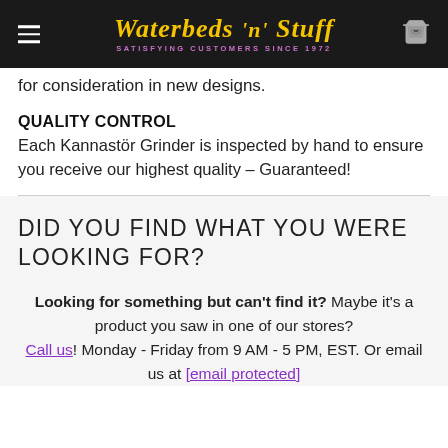Waterbeds 'n' Stuff — SATISFYING CUSTOMERS SINCE 1972
for consideration in new designs.
QUALITY CONTROL
Each Kannastör Grinder is inspected by hand to ensure you receive our highest quality – Guaranteed!
DID YOU FIND WHAT YOU WERE LOOKING FOR?
Looking for something but can't find it? Maybe it's a product you saw in one of our stores? Call us! Monday - Friday from 9 AM - 5 PM, EST. Or email us at [email protected]